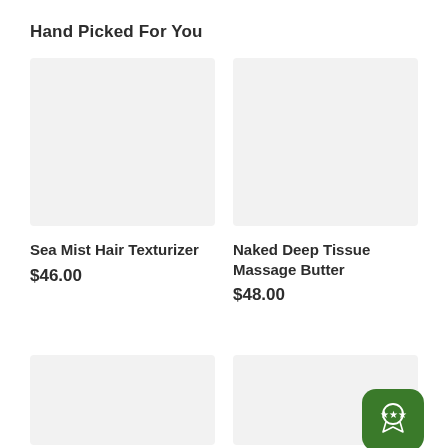Hand Picked For You
[Figure (photo): Product image placeholder for Sea Mist Hair Texturizer (light grey rectangle)]
Sea Mist Hair Texturizer
$46.00
[Figure (photo): Product image placeholder for Naked Deep Tissue Massage Butter (light grey rectangle)]
Naked Deep Tissue Massage Butter
$48.00
[Figure (photo): Product image placeholder bottom left (light grey rectangle)]
[Figure (photo): Product image placeholder bottom right with green badge icon overlay]